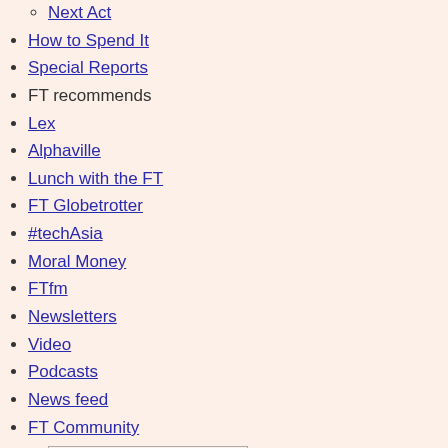Next Act
How to Spend It
Special Reports
FT recommends
Lex
Alphaville
Lunch with the FT
FT Globetrotter
#techAsia
Moral Money
FTfm
Newsletters
Video
Podcasts
News feed
FT Community
Show more FT Community
Swarovski Crystal Vitrail Medium Bicone 5301 Beads; 5mm (24pc) o
FT Forums
Board Director Programme
myFT
Portfolio
Today's Newspaper (ePaper)
Crossword